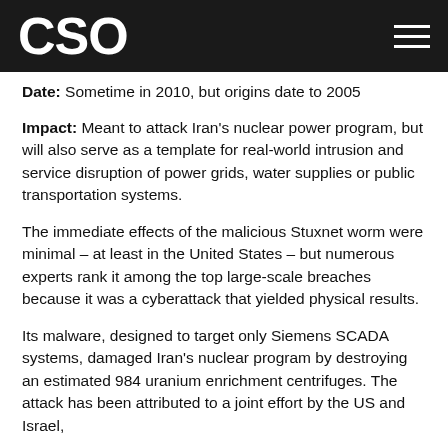CSO
Date: Sometime in 2010, but origins date to 2005
Impact: Meant to attack Iran's nuclear power program, but will also serve as a template for real-world intrusion and service disruption of power grids, water supplies or public transportation systems.
The immediate effects of the malicious Stuxnet worm were minimal – at least in the United States – but numerous experts rank it among the top large-scale breaches because it was a cyberattack that yielded physical results.
Its malware, designed to target only Siemens SCADA systems, damaged Iran's nuclear program by destroying an estimated 984 uranium enrichment centrifuges. The attack has been attributed to a joint effort by the US and Israel,